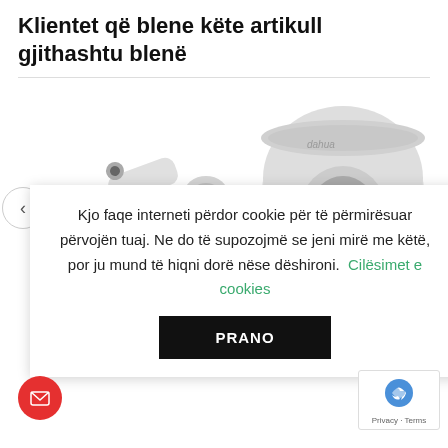Klientet që blene këte artikull gjithashtu blenë
[Figure (photo): Two white security cameras (bullet style) on left side of product carousel]
[Figure (photo): White dome-style Dahua security camera on right side of product carousel]
Kjo faqe interneti përdor cookie për të përmirësuar përvojën tuaj. Ne do të supozojmë se jeni mirë me këtë, por ju mund të hiqni dorë nëse dëshironi. Cilësimet e cookies
PRANO
Dahua 4MP IPC-